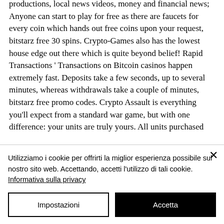productions, local news videos, money and financial news; Anyone can start to play for free as there are faucets for every coin which hands out free coins upon your request, bitstarz free 30 spins. Crypto-Games also has the lowest house edge out there which is quite beyond belief! Rapid Transactions ' Transactions on Bitcoin casinos happen extremely fast. Deposits take a few seconds, up to several minutes, whereas withdrawals take a couple of minutes, bitstarz free promo codes. Crypto Assault is everything you'll expect from a standard war game, but with one difference: your units are truly yours. All units purchased
Utilizziamo i cookie per offrirti la miglior esperienza possibile sul nostro sito web. Accettando, accetti l'utilizzo di tali cookie. Informativa sulla privacy